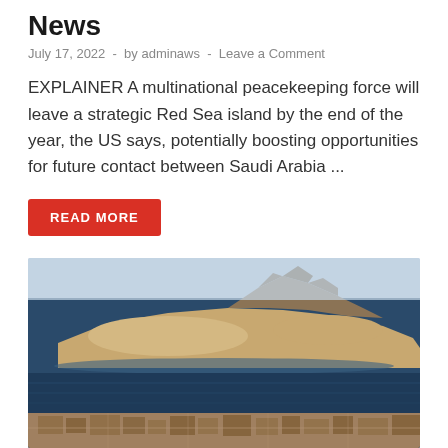News
July 17, 2022  -  by adminaws  -  Leave a Comment
EXPLAINER A multinational peacekeeping force will leave a strategic Red Sea island by the end of the year, the US says, potentially boosting opportunities for future contact between Saudi Arabia ...
READ MORE
[Figure (photo): Aerial photograph of a Red Sea island showing sandy terrain with mountains in the background, surrounded by dark blue water, with a coastal settlement visible in the foreground.]